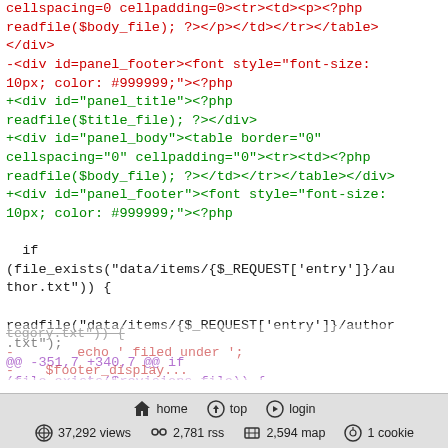[Figure (screenshot): Code diff screenshot showing PHP/HTML diff lines in red (removed) and green (added), with purple diff hunk header. Shows HTML table and div elements with PHP code. Black section shows PHP file_exists and readfile calls. Footer bar with navigation icons for home, top, login, views, rss, map, cookie.]
home  top  login  37,292 views  2,781 rss  2,594 map  1 cookie